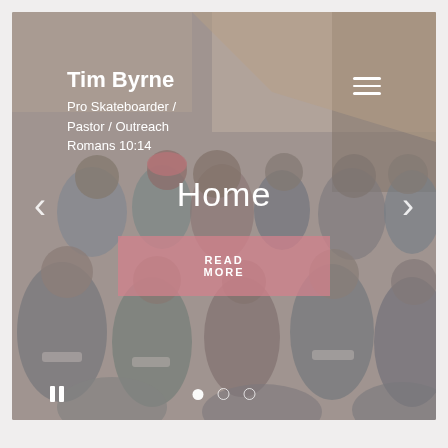[Figure (screenshot): Website screenshot showing a slideshow with a background photo of a crowd of people seated in white chairs at an indoor event. Overlaid UI elements include text, navigation arrows, a hamburger menu, a pink 'READ MORE' button, and slider dots.]
Tim Byrne
Pro Skateboarder / Pastor / Outreach
Romans 10:14
Home
READ MORE